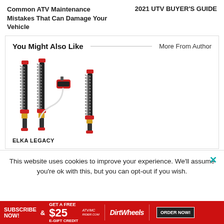Common ATV Maintenance Mistakes That Can Damage Your Vehicle
2021 UTV BUYER'S GUIDE
You Might Also Like
More From Author
[Figure (photo): Photo of multiple ELKA LEGACY shock absorbers with coil springs, red accents, and a remote reservoir]
ELKA LEGACY
This website uses cookies to improve your experience. We'll assume you're ok with this, but you can opt-out if you wish.
SUBSCRIBE NOW! & GET A FREE $25 E-GIFT CREDIT